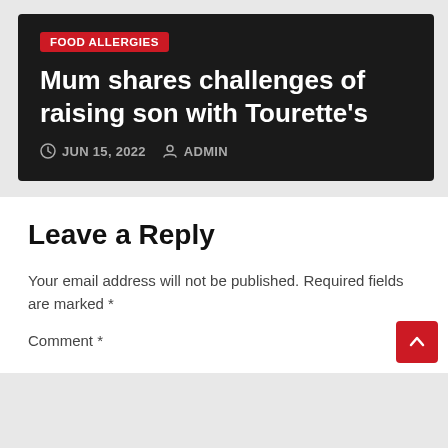FOOD ALLERGIES
Mum shares challenges of raising son with Tourette's
JUN 15, 2022   ADMIN
Leave a Reply
Your email address will not be published. Required fields are marked *
Comment *